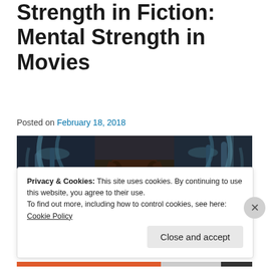Strength in Fiction: Mental Strength in Movies
Posted on February 18, 2018
[Figure (photo): A woman with curly dark hair looking forward, surrounded by dark mechanical/alien-looking structures and tubing on both sides, from what appears to be a science fiction film (Alien).]
Privacy & Cookies: This site uses cookies. By continuing to use this website, you agree to their use.
To find out more, including how to control cookies, see here: Cookie Policy
Close and accept